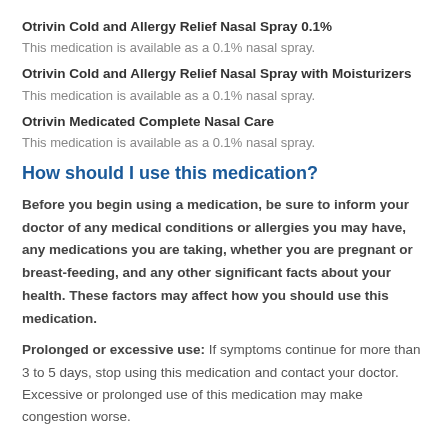Otrivin Cold and Allergy Relief Nasal Spray 0.1%
This medication is available as a 0.1% nasal spray.
Otrivin Cold and Allergy Relief Nasal Spray with Moisturizers
This medication is available as a 0.1% nasal spray.
Otrivin Medicated Complete Nasal Care
This medication is available as a 0.1% nasal spray.
How should I use this medication?
Before you begin using a medication, be sure to inform your doctor of any medical conditions or allergies you may have, any medications you are taking, whether you are pregnant or breast-feeding, and any other significant facts about your health. These factors may affect how you should use this medication.
Prolonged or excessive use: If symptoms continue for more than 3 to 5 days, stop using this medication and contact your doctor. Excessive or prolonged use of this medication may make congestion worse.